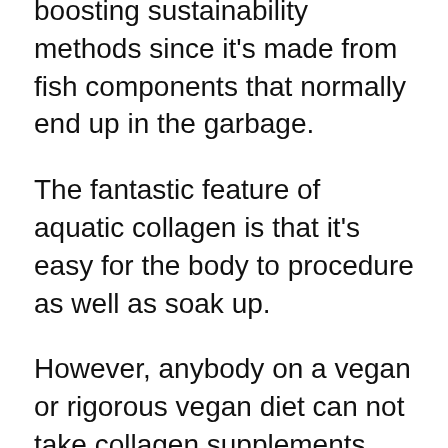boosting sustainability methods since it's made from fish components that normally end up in the garbage.
The fantastic feature of aquatic collagen is that it's easy for the body to procedure as well as soak up.
However, anybody on a vegan or rigorous vegan diet can not take collagen supplements since it's always sourced from some sort of animal product.
However, unlike conventional jelly, bovine collagen as well as aquatic collagen do not consist of any kind of pork-derived products so they appropriate for anyone on a kosher or halal diet plan.